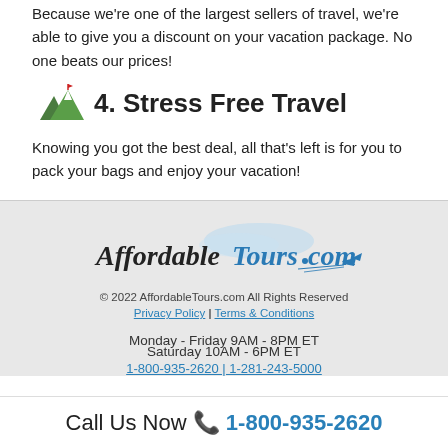Because we're one of the largest sellers of travel, we're able to give you a discount on your vacation package. No one beats our prices!
4. Stress Free Travel
Knowing you got the best deal, all that's left is for you to pack your bags and enjoy your vacation!
[Figure (logo): AffordableTours.com logo with airplane graphic]
© 2022 AffordableTours.com All Rights Reserved
Privacy Policy | Terms & Conditions
Monday - Friday 9AM - 8PM ET
Saturday 10AM - 6PM ET
1-800-935-2620 | 1-281-243-5000
Call Us Now 📞 1-800-935-2620